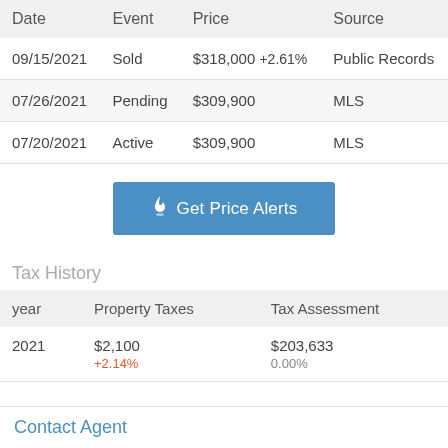| Date | Event | Price | Source |
| --- | --- | --- | --- |
| 09/15/2021 | Sold | $318,000 +2.61% | Public Records |
| 07/26/2021 | Pending | $309,900 | MLS |
| 07/20/2021 | Active | $309,900 | MLS |
Get Price Alerts
Tax History
| year | Property Taxes | Tax Assessment |
| --- | --- | --- |
| 2021 | $2,100
+2.14% | $203,633
0.00% |
Contact Agent